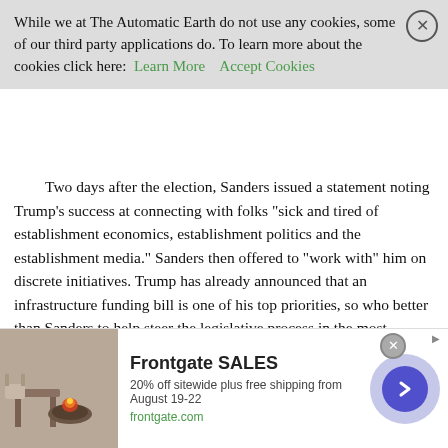While we at The Automatic Earth do not use any cookies, some of our third party applications do. To learn more about the cookies click here: Learn More   Accept Cookies
Two days after the election, Sanders issued a statement noting Trump's success at connecting with folks “sick and tired of establishment economics, establishment politics and the establishment media.” Sanders then offered to “work with” him on discrete initiatives. Trump has already announced that an infrastructure funding bill is one of his top priorities, so who better than Sanders to help steer the legislative process in the most fruitful possible direction? (Bernie this week characterized Trump’s plan as a “scam,” so why not register those concerns in person?)
Read more …
Sounds desperate.
[Figure (other): Advertisement banner for Frontgate SALES showing outdoor furniture near a fire pit. Text: Frontgate SALES, 20% off sitewide plus free shipping from August 19-22, frontgate.com]